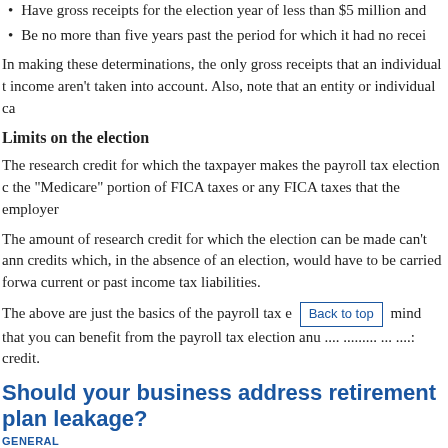Have gross receipts for the election year of less than $5 million and
Be no more than five years past the period for which it had no recei
In making these determinations, the only gross receipts that an individual t income aren't taken into account. Also, note that an entity or individual ca
Limits on the election
The research credit for which the taxpayer makes the payroll tax election c the “Medicare” portion of FICA taxes or any FICA taxes that the employer
The amount of research credit for which the election can be made can’t ann credits which, in the absence of an election, would have to be carried forwa current or past income tax liabilities.
The above are just the basics of the payroll tax e [Back to top] mind that you can benefit from the payroll tax election anu .... ......... ... ....: credit.
Should your business address retirement plan leakage?
GENERAL
Posted by Admin Posted on Mar 01 2022
Under just about any circumstances, the word “leakage” has negative conn